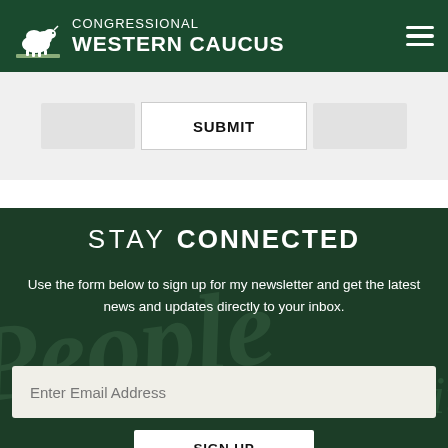CONGRESSIONAL WESTERN CAUCUS
SUBMIT
STAY CONNECTED
Use the form below to sign up for my newsletter and get the latest news and updates directly to your inbox.
Enter Email Address
SIGN UP